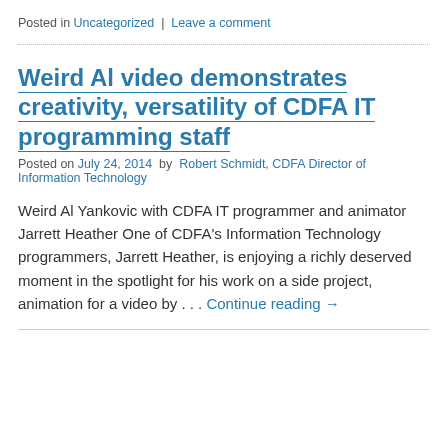Posted in Uncategorized | Leave a comment
Weird Al video demonstrates creativity, versatility of CDFA IT programming staff
Posted on July 24, 2014 by Robert Schmidt, CDFA Director of Information Technology
Weird Al Yankovic with CDFA IT programmer and animator Jarrett Heather One of CDFA's Information Technology programmers, Jarrett Heather, is enjoying a richly deserved moment in the spotlight for his work on a side project, animation for a video by . . . Continue reading →